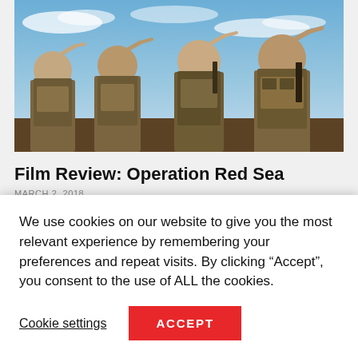[Figure (photo): Four soldiers in military combat gear and tactical vests saluting, standing against a blue sky with clouds]
Film Review: Operation Red Sea
MARCH 2, 2018
[Figure (logo): CFI logo in large bold white letters on dark background]
We use cookies on our website to give you the most relevant experience by remembering your preferences and repeat visits. By clicking “Accept”, you consent to the use of ALL the cookies.
Cookie settings
ACCEPT